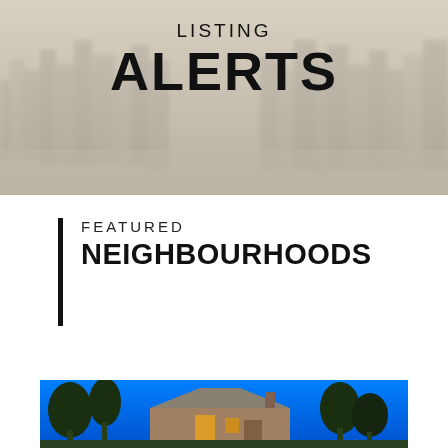LISTING ALERTS
FEATURED NEIGHBOURHOODS
[Figure (photo): Photograph of a large house at dusk with tall trees against a bright blue sky, warm lights visible in the windows]